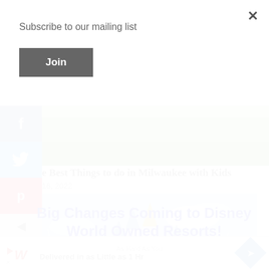Subscribe to our mailing list
Join
[Figure (screenshot): Social media share sidebar with Facebook (f), Twitter (bird), Pinterest (p) icons and a left arrow toggle]
[Figure (photo): Partial green outdoor photo from Milwaukee article]
e Best Things to do in Milwaukee with Kids
16, 2022
[Figure (photo): Disney World castle with fireworks and blue sky; overlay text reads 'Big Changes Coming to Disney World Owned Resorts!']
[Figure (screenshot): Advertisement bar: Walgreens logo with 'As Hard As You / Delivered in as Little as 1 Hr' text and blue diamond navigation icon]